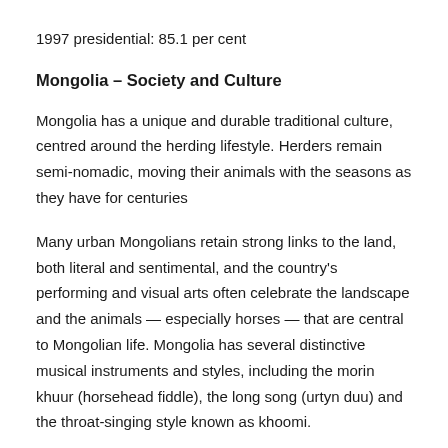1997 presidential: 85.1 per cent
Mongolia – Society and Culture
Mongolia has a unique and durable traditional culture, centred around the herding lifestyle. Herders remain semi-nomadic, moving their animals with the seasons as they have for centuries
Many urban Mongolians retain strong links to the land, both literal and sentimental, and the country's performing and visual arts often celebrate the landscape and the animals — especially horses — that are central to Mongolian life. Mongolia has several distinctive musical instruments and styles, including the morin khuur (horsehead fiddle), the long song (urtyn duu) and the throat-singing style known as khoomi.